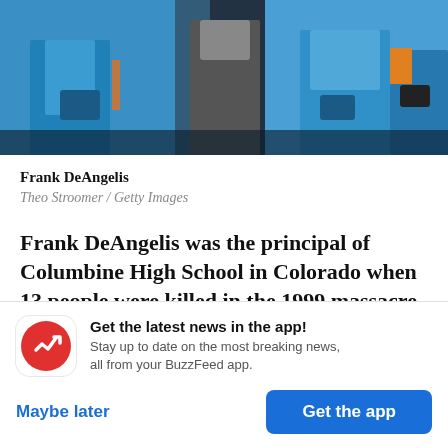[Figure (photo): Photo of Frank DeAngelis and others wearing blue shirts, standing at what appears to be an outdoor event]
Frank DeAngelis
Theo Stroomer / Getty Images
Frank DeAngelis was the principal of Columbine High School in Colorado when 13 people were killed in the 1999 massacre, a tragedy that led to a hyperawareness of school shootings and to the modern debate over how to prevent them and how
Get the latest news in the app! Stay up to date on the most breaking news, all from your BuzzFeed app.
Maybe later
Get the app